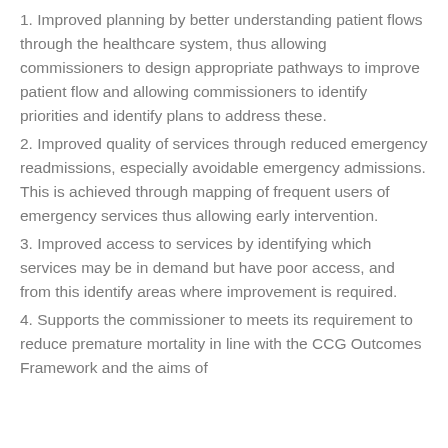1. Improved planning by better understanding patient flows through the healthcare system, thus allowing commissioners to design appropriate pathways to improve patient flow and allowing commissioners to identify priorities and identify plans to address these.
2. Improved quality of services through reduced emergency readmissions, especially avoidable emergency admissions. This is achieved through mapping of frequent users of emergency services thus allowing early intervention.
3. Improved access to services by identifying which services may be in demand but have poor access, and from this identify areas where improvement is required.
4. Supports the commissioner to meets its requirement to reduce premature mortality in line with the CCG Outcomes Framework and the aims of...